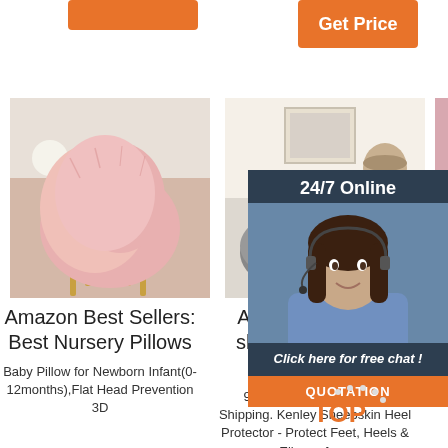[Figure (photo): Orange/coral button at top left]
[Figure (photo): Orange Get Price button at top right with white text]
[Figure (photo): Pink fluffy sheepskin chair cover product photo]
[Figure (photo): Grey fluffy sheepskin rug on floor product photo]
[Figure (photo): Partial pink sheepskin product image on far right]
Amazon Best Sellers: Best Nursery Pillows
Baby Pillow for Newborn Infant(0-12months),Flat Head Prevention 3D
Amazon.com: Mo sheepskin for bed sores
99 ($61.99/Count) FREE Shipping. Kenley Sheepskin Heel Protector - Protect Feet, Heels & Elbows from
She Def 2u2002·u2002Sheepskin Products. Whether you're looking for sheepskin footwear for the family, lambskin rugs for
[Figure (infographic): 24/7 Online customer service overlay panel with agent photo, Click here for free chat text, and QUOTATION orange button]
[Figure (logo): TOP logo with orange text and decorative dots]